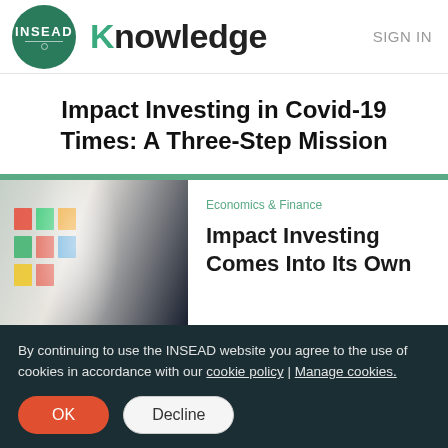INSEAD Knowledge | SIGN IN
Impact Investing in Covid-19 Times: A Three-Step Mission
[Figure (photo): Photo of a person reviewing financial charts and documents, with a blurred dark background]
Economics & Finance
Impact Investing Comes Into Its Own
By continuing to use the INSEAD website you agree to the use of cookies in accordance with our cookie policy | Manage cookies.
OK | Decline